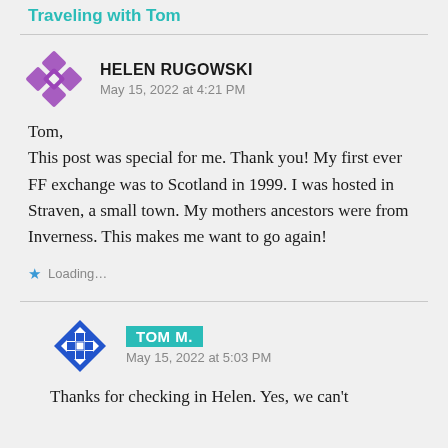Traveling with Tom
HELEN RUGOWSKI
May 15, 2022 at 4:21 PM
Tom,
This post was special for me. Thank you! My first ever FF exchange was to Scotland in 1999. I was hosted in Straven, a small town. My mothers ancestors were from Inverness. This makes me want to go again!
Loading...
TOM M.
May 15, 2022 at 5:03 PM
Thanks for checking in Helen. Yes, we can't